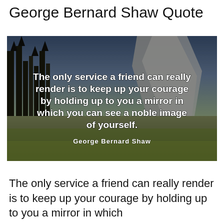George Bernard Shaw Quote
[Figure (photo): Landscape photo of Yosemite valley with tall trees, granite cliffs, and dramatic sky. White bold text overlaid reads: 'The only service a friend can really render is to keep up your courage by holding up to you a mirror in which you can see a noble image of yourself.' Attribution text below in smaller white text: 'George Bernard Shaw']
The only service a friend can really render is to keep up your courage by holding up to you a mirror in which